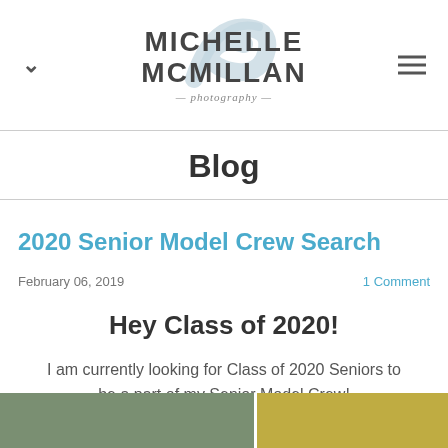Michelle McMillan Photography
Blog
2020 Senior Model Crew Search
February 06, 2019    1 Comment
Hey Class of 2020!
I am currently looking for Class of 2020 Seniors to be a part of my Senior Model Crew!
[Figure (photo): Photo strip showing senior model photos at the bottom of the page]